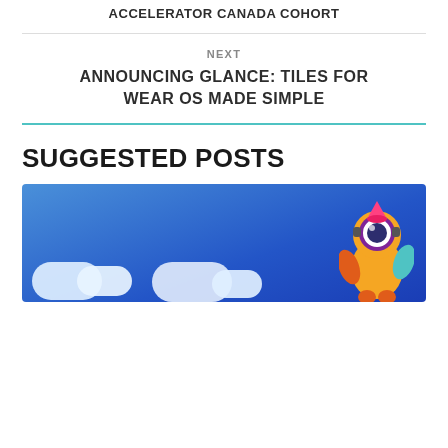ACCELERATOR CANADA COHORT
NEXT
ANNOUNCING GLANCE: TILES FOR WEAR OS MADE SIMPLE
SUGGESTED POSTS
[Figure (illustration): Blue sky background with white clouds and a cartoon character (robot/alien) on the right side]